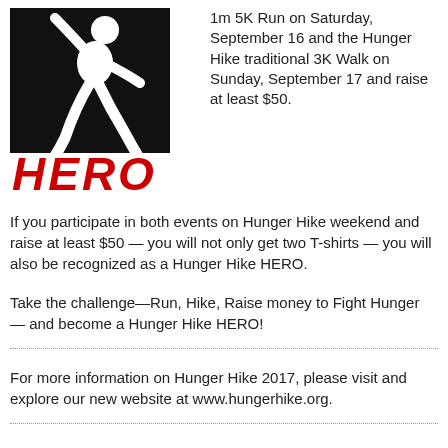[Figure (illustration): Black and white silhouette of a running person with 'HERO' text in red bold italic below]
1m 5K Run on Saturday, September 16 and the Hunger Hike traditional 3K Walk on Sunday, September 17 and raise at least $50.
If you participate in both events on Hunger Hike weekend and raise at least $50 — you will not only get two T-shirts — you will also be recognized as a Hunger Hike HERO.
Take the challenge—Run, Hike, Raise money to Fight Hunger — and become a Hunger Hike HERO!
For more information on Hunger Hike 2017, please visit and explore our new website at www.hungerhike.org.